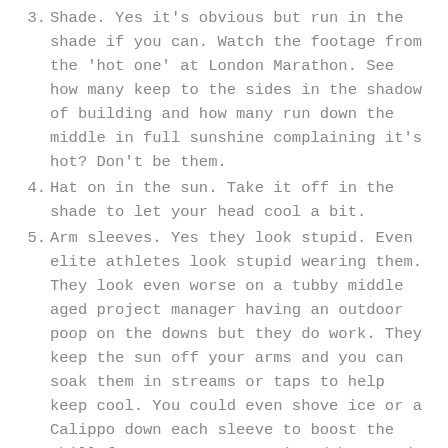3. Shade. Yes it's obvious but run in the shade if you can. Watch the footage from the 'hot one' at London Marathon. See how many keep to the sides in the shadow of building and how many run down the middle in full sunshine complaining it's hot? Don't be them.
4. Hat on in the sun. Take it off in the shade to let your head cool a bit.
5. Arm sleeves. Yes they look stupid. Even elite athletes look stupid wearing them. They look even worse on a tubby middle aged project manager having an outdoor poop on the downs but they do work. They keep the sun off your arms and you can soak them in streams or taps to help keep cool. You could even shove ice or a Calippo down each sleeve to boost the chill factor. Have I mentioned how good Calippo are?